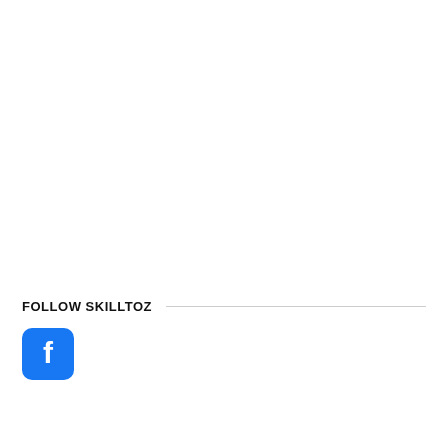FOLLOW SKILLTOZ
[Figure (logo): Facebook logo icon — blue rounded square with white letter f]